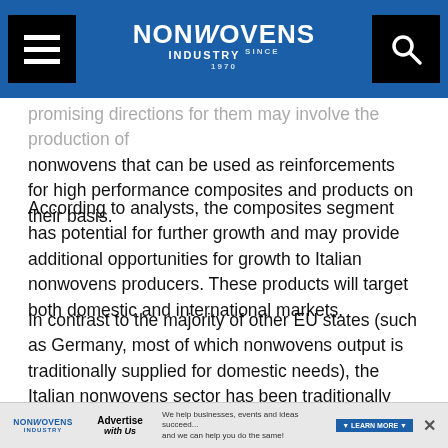NONWOVENS INDUSTRY
promising directions for them may involve the production of nonwovens that can be used as reinforcements for high performance composites and products on their basis.
According to analysts, the composites segment has potential for further growth and may provide additional opportunities for growth to Italian nonwovens producers. These products will target both domestic and international markets.
In contrast to the majority of other EU states (such as Germany, most of which nonwovens output is traditionally supplied for domestic needs), the Italian nonwovens sector has been traditionally focused on exports. That could mainly be explained by the strong reputation of Italian-made clothing and textile goods in the international arena,
NONWOVENS INDUSTRY | Advertise with Us | We help businesses, events and ideas succeed... and we can help you do the same! | LEARN MORE